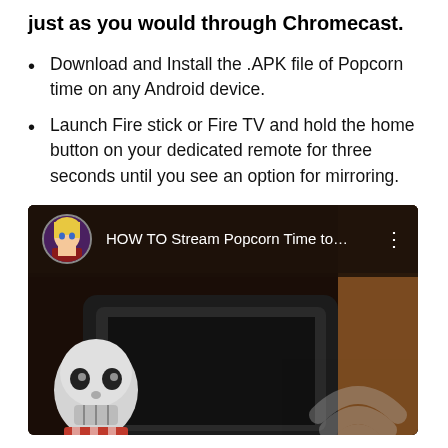just as you would through Chromecast.
Download and Install the .APK file of Popcorn time on any Android device.
Launch Fire stick or Fire TV and hold the home button on your dedicated remote for three seconds until you see an option for mirroring.
[Figure (screenshot): YouTube video thumbnail/player showing 'HOW TO Stream Popcorn Time to...' with an animated character avatar, dark background with a Popcorn Time mascot (skull character) and Chromecast icon visible.]